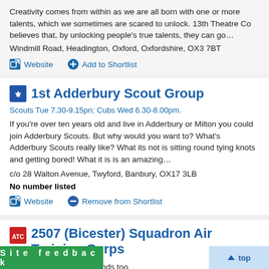Creativity comes from within as we are all born with one or more talents, which we sometimes are scared to unlock. 13th Theatre Co believes that, by unlocking people's true talents, they can go…
Windmill Road, Headington, Oxford, Oxfordshire, OX3 7BT
Website   Add to Shortlist
1st Adderbury Scout Group
Scouts Tue 7.30-9.15pn; Cubs Wed 6.30-8.00pm.
If you're over ten years old and live in Adderbury or Milton you could join Adderbury Scouts. But why would you want to? What's Adderbury Scouts really like? What its not is sitting round tying knots and getting bored! What it is is an amazing…
c/o 28 Walton Avenue, Twyford, Banbury, OX17 3LB
No number listed
Website   Remove from Shortlist
2507 (Bicester) Squadron Air Training Corps
evening and some weekends too
Site feedback   top